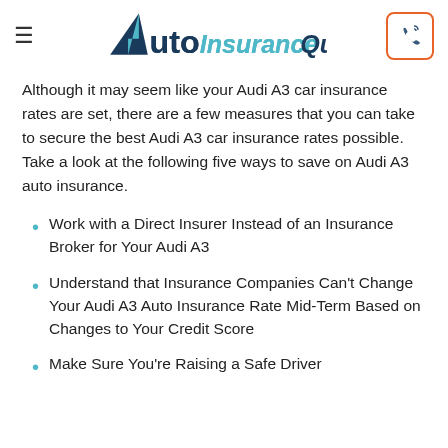AutoInsuranceQuote
Although it may seem like your Audi A3 car insurance rates are set, there are a few measures that you can take to secure the best Audi A3 car insurance rates possible. Take a look at the following five ways to save on Audi A3 auto insurance.
Work with a Direct Insurer Instead of an Insurance Broker for Your Audi A3
Understand that Insurance Companies Can't Change Your Audi A3 Auto Insurance Rate Mid-Term Based on Changes to Your Credit Score
Make Sure You're Raising a Safe Driver